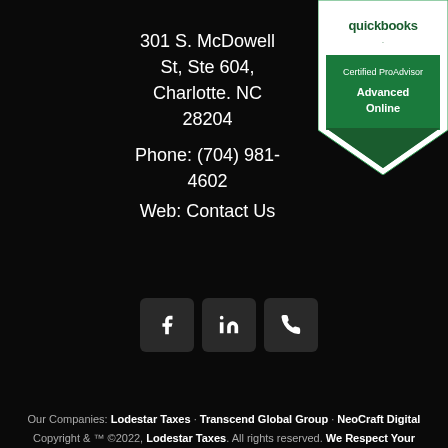[Figure (logo): QuickBooks Certified ProAdvisor Advanced Online badge/shield logo in green and white]
301 S. McDowell St, Ste 604, Charlotte. NC 28204
Phone: (704) 981-4602
Web: Contact Us
[Figure (other): Social media icons: Facebook (f), LinkedIn (in), Phone]
Our Companies: Lodestar Taxes · Transcend Global Group · NeoCraft Digital Copyright & ™ ©2022, Lodestar Taxes. All rights reserved. We Respect Your Privacy